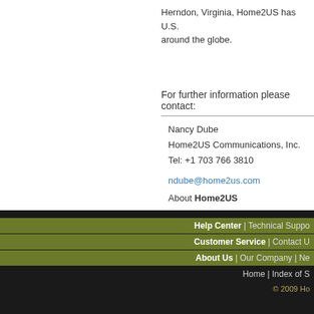Herndon, Virginia, Home2US has U.S. around the globe.
For further information please contact:
Nancy Dube
Home2US Communications, Inc.
Tel: +1 703 766 3810
ndube@home2us.com
About Home2US
Help Center | Technical Suppo...
Customer Service | Contact U...
About Us | Our Company | Ne...
Home | Index of S...
© 2009 Ho...